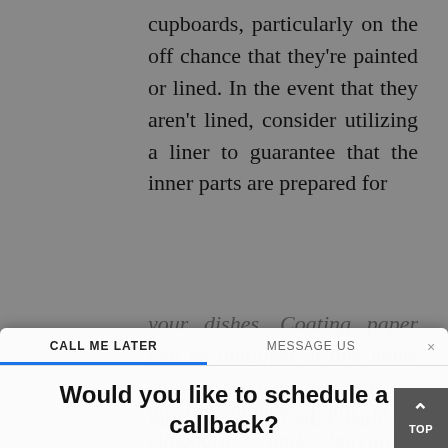cupboards, particularly on the off chance that they're painted or lined. In the event that they aren't lined, consider utilizing a liner to guarantee that the inner parts are prepared for your dishes. Coating paper can be obtained at any home store. I keep an option to do that, but it can stick with the goal that it can be evacuated whenever.
[Figure (screenshot): A callback scheduling dialog/modal with tabs 'CALL ME LATER' and 'MESSAGE US', a title 'Would you like to schedule a callback?', an email input field, a phone number field showing Canadian flag +1 and number 204-234-5678, and date/time dropdowns showing 'Today' and '13:00'.]
on the highest point of cupboards and bureau entryways. On the off chance that the surface is wood, or a mellow material, or it can utilize